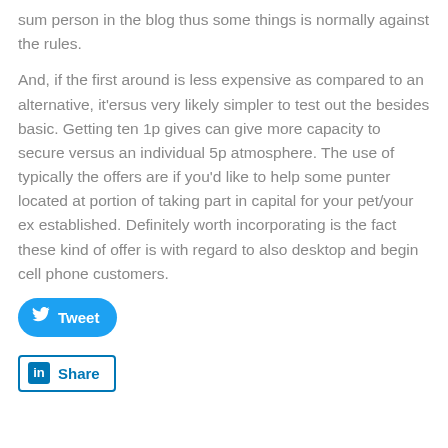sum person in the blog thus some things is normally against the rules.
And, if the first around is less expensive as compared to an alternative, it'ersus very likely simpler to test out the besides basic. Getting ten 1p gives can give more capacity to secure versus an individual 5p atmosphere. The use of typically the offers are if you'd like to help some punter located at portion of taking part in capital for your pet/your ex established. Definitely worth incorporating is the fact these kind of offer is with regard to also desktop and begin cell phone customers.
[Figure (other): Tweet button (blue pill-shaped social share button with Twitter bird icon and 'Tweet' text)]
[Figure (other): LinkedIn Share button (white rectangular button with blue border, 'in' logo box, and 'Share' text)]